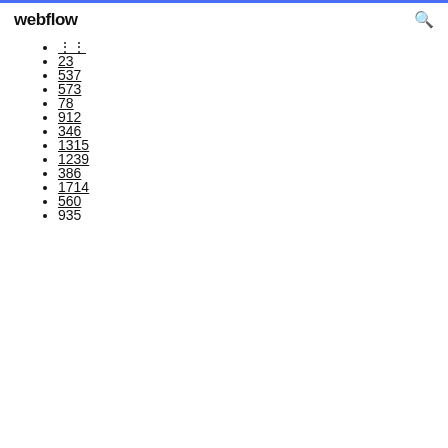webflow
...
23
537
573
78
912
346
1315
1239
386
1714
560
935